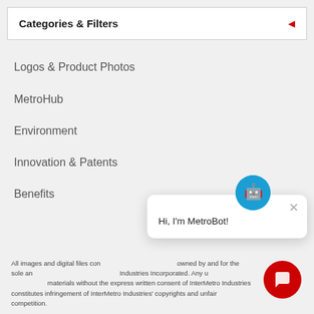Categories & Filters
Logos & Product Photos
MetroHub
Environment
Innovation & Patents
Benefits
[Figure (screenshot): Chat popup with MetroBot icon and greeting text 'Hi, I'm MetroBot!']
All images and digital files contained within are property owned by and for the sole and exclusive use of InterMetro Industries Incorporated. Any use of these copyrighted materials without the express written consent of InterMetro Industries constitutes infringement of InterMetro Industries' copyrights and unfair competition.